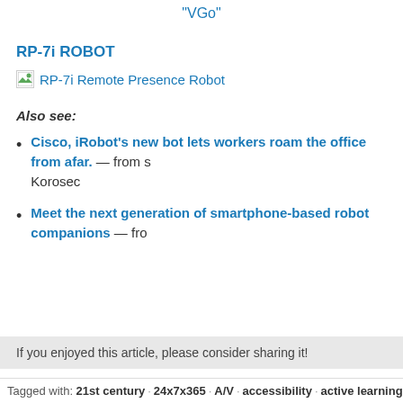“VGo”
RP-7i ROBOT
[Figure (photo): RP-7i Remote Presence Robot image placeholder]
Also see:
Cisco, iRobot’s new bot lets workers roam the office from afar. — from s... Korosec
Meet the next generation of smartphone-based robot companions — fro...
If you enjoyed this article, please consider sharing it!
Tagged with: 21st century · 24x7x365 · A/V · accessibility · active learning · assi...